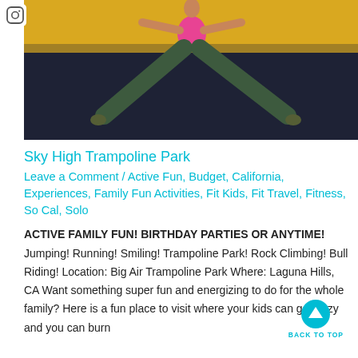[Figure (photo): Person doing a split jump on a trampoline, wearing pink top and dark leggings, against a yellow and dark blue background]
Sky High Trampoline Park
Leave a Comment / Active Fun, Budget, California, Experiences, Family Fun Activities, Fit Kids, Fit Travel, Fitness, So Cal, Solo
ACTIVE FAMILY FUN! BIRTHDAY PARTIES OR ANYTIME! Jumping! Running! Smiling! Trampoline Park! Rock Climbing! Bull Riding! Location: Big Air Trampoline Park Where: Laguna Hills, CA Want something super fun and energizing to do for the whole family? Here is a fun place to visit where your kids can go crazy and you can burn